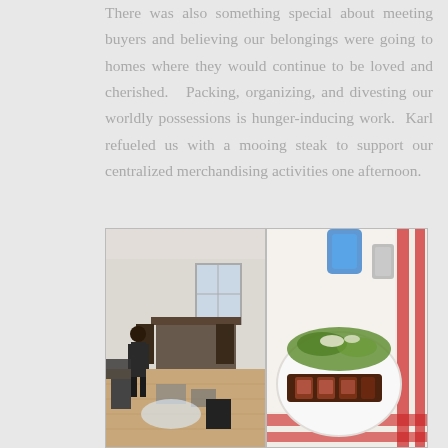There was also something special about meeting buyers and believing our belongings were going to homes where they would continue to be loved and cherished. Packing, organizing, and divesting our worldly possessions is hunger-inducing work. Karl refueled us with a mooing steak to support our centralized merchandising activities one afternoon.
[Figure (photo): Two side-by-side photos: left shows a partially packed apartment with a person standing amid scattered items, boxes and furniture; right shows a restaurant plate with sliced steak and a green salad, with a blue water bottle visible in the background.]